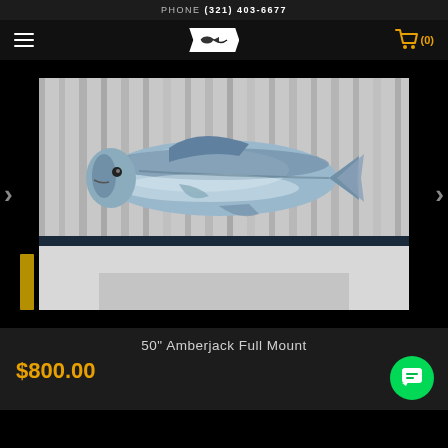PHONE (321) 403-6677
[Figure (screenshot): Navigation bar with hamburger menu, fish logo badge, and shopping cart icon with (0)]
[Figure (photo): Photo of a 50-inch Amberjack fish mounted horizontally in front of a corrugated metal wall/building exterior. The fish is silver/blue with prominent fins and tail.]
50" Amberjack Full Mount
$800.00